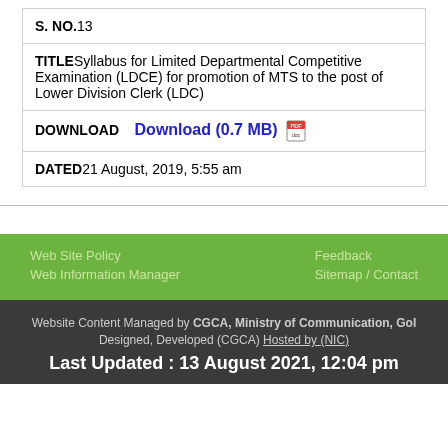| S. NO. | 13 |
| TITLE | Syllabus for Limited Departmental Competitive Examination (LDCE) for promotion of MTS to the post of Lower Division Clerk (LDC) |
| DOWNLOAD | Download (0.7 MB) |
| DATED | 21 August, 2019, 5:55 am |
Web Site Policy
Web Information Manager
Feedback
Sitemap / Contact
Website Content Managed by CGCA, Ministry of Communication, GoI
Designed, Developed (CGCA) Hosted by (NIC)
Last Updated : 13 August 2021, 12:04 pm